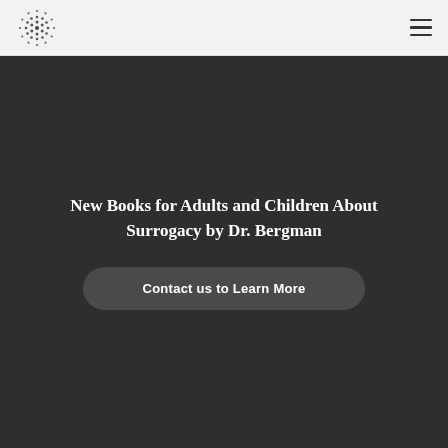New Books for Adults and Children About Surrogacy by Dr. Bergman
Contact us to Learn More